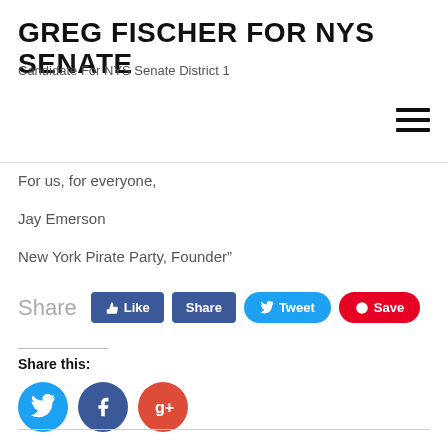GREG FISCHER FOR NYS SENATE
Candidate For NYS Senate District 1
For us, for everyone,
Jay Emerson
New York Pirate Party, Founder"
Share  Like  Share  Tweet  Save
Share this: